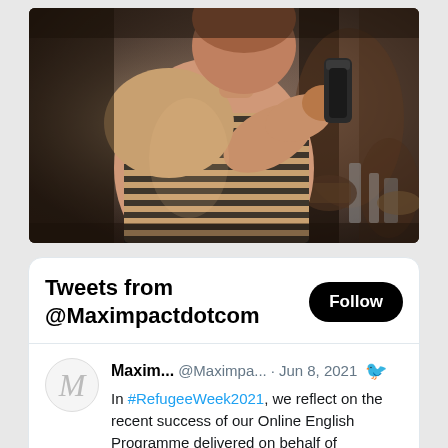[Figure (photo): A man in a striped t-shirt photographed from the side, leaning forward and working with a coffee/bar shaker in what appears to be a cafe or bar setting. Dark moody tones with bokeh background.]
Tweets from @Maximpactdotcom
Maxim... @Maximpa... · Jun 8, 2021  In #RefugeeWeek2021, we reflect on the recent success of our Online English Programme delivered on behalf of @Ed_Authority which engaged more than